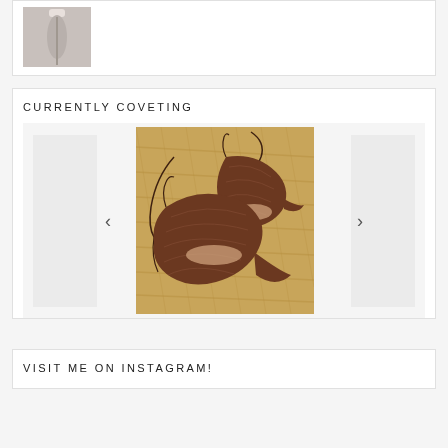[Figure (photo): Partial view of a product image (appears to be jewelry or ornament) on white background, cropped at top of page]
CURRENTLY COVETING
[Figure (photo): Photo of two brown woven/raffia pointed-toe slingback flat shoes with tie straps, displayed on a woven straw/rattan surface. Carousel widget with left and right navigation arrows and side panel placeholders.]
VISIT ME ON INSTAGRAM!